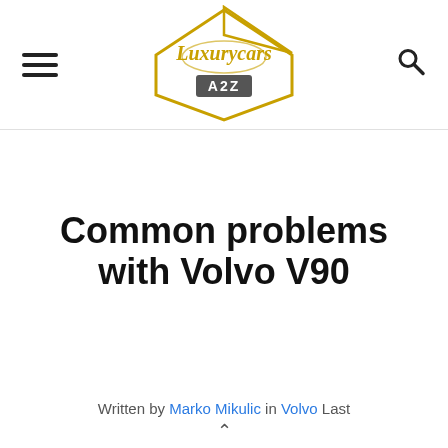LuxuryCars A2Z — navigation header with menu icon, logo, and search icon
Common problems with Volvo V90
Written by Marko Mikulic in Volvo Last